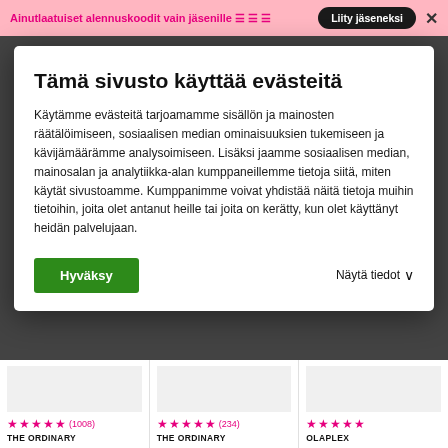Ainutlaatuiset alennuskoodit vain jäsenille ☰☰☰   Liity jäseneksi  ✕
Tämä sivusto käyttää evästeitä
Käytämme evästeitä tarjoamamme sisällön ja mainosten räätälöimiseen, sosiaalisen median ominaisuuksien tukemiseen ja kävijämäärämme analysoimiseen. Lisäksi jaamme sosiaalisen median, mainosalan ja analytiikka-alan kumppaneillemme tietoja siitä, miten käytät sivustoamme. Kumppanimme voivat yhdistää näitä tietoja muihin tietoihin, joita olet antanut heille tai joita on kerätty, kun olet käyttänyt heidän palvelujaan.
Hyväksy
Näytä tiedot ∨
★★★★★ (1008) THE ORDINARY
★★★★★ (234) THE ORDINARY
★★★★★ OLAPLEX